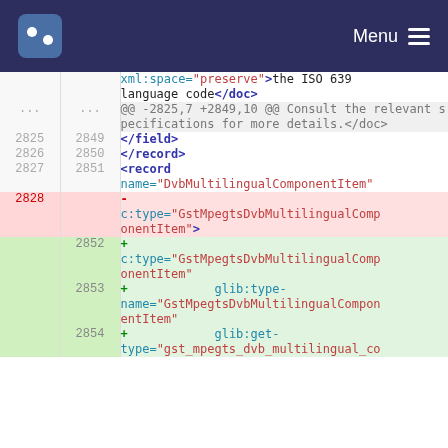Menu
[Figure (screenshot): Code diff viewer showing XML source changes around lines 2825-2854, with deleted lines highlighted in red and added lines in green.]